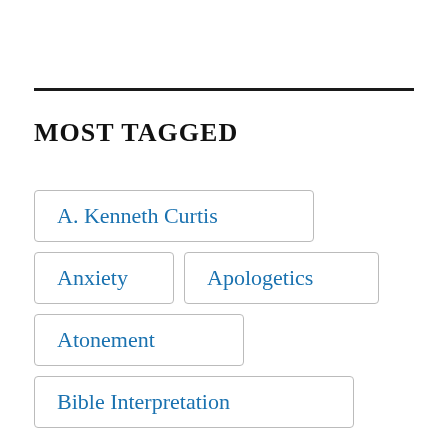MOST TAGGED
A. Kenneth Curtis
Anxiety
Apologetics
Atonement
Bible Interpretation